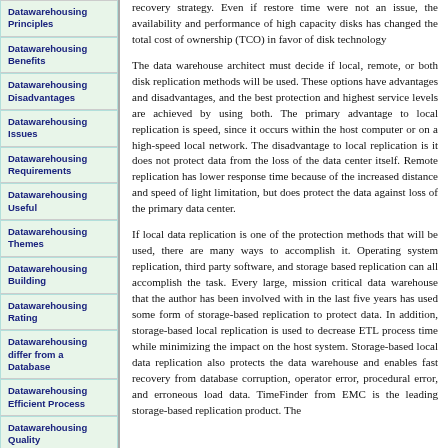Datawarehousing Principles
Datawarehousing Benefits
Datawarehousing Disadvantages
Datawarehousing Issues
Datawarehousing Requirements
Datawarehousing Useful
Datawarehousing Themes
Datawarehousing Building
Datawarehousing Rating
Datawarehousing differ from a Database
Datawarehousing Efficient Process
Datawarehousing Quality Management
Datawarehousing Evaluate the
recovery strategy. Even if restore time were not an issue, the availability and performance of high capacity disks has changed the total cost of ownership (TCO) in favor of disk technology
The data warehouse architect must decide if local, remote, or both disk replication methods will be used. These options have advantages and disadvantages, and the best protection and highest service levels are achieved by using both. The primary advantage to local replication is speed, since it occurs within the host computer or on a high-speed local network. The disadvantage to local replication is it does not protect data from the loss of the data center itself. Remote replication has lower response time because of the increased distance and speed of light limitation, but does protect the data against loss of the primary data center.
If local data replication is one of the protection methods that will be used, there are many ways to accomplish it. Operating system replication, third party software, and storage based replication can all accomplish the task. Every large, mission critical data warehouse that the author has been involved with in the last five years has used some form of storage-based replication to protect data. In addition, storage-based local replication is used to decrease ETL process time while minimizing the impact on the host system. Storage-based local data replication also protects the data warehouse and enables fast recovery from database corruption, operator error, procedural error, and erroneous load data. TimeFinder from EMC is the leading storage-based replication product. The